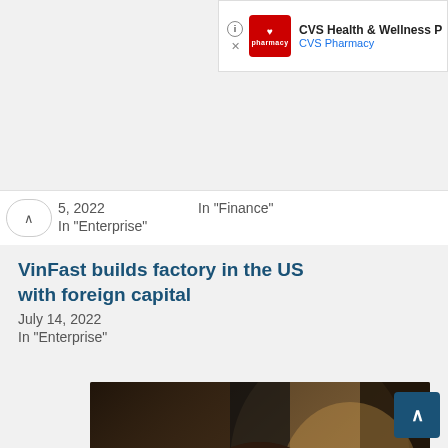[Figure (screenshot): CVS Health & Wellness pharmacy advertisement banner in top right corner with CVS logo]
5, 2022  In "Finance"
In "Enterprise"
VinFast builds factory in the US with foreign capital
July 14, 2022
In "Enterprise"
[Figure (photo): Young woman with short dark hair wearing a white long-sleeve top, sitting and resting hand on head, indoor setting with warm lighting]